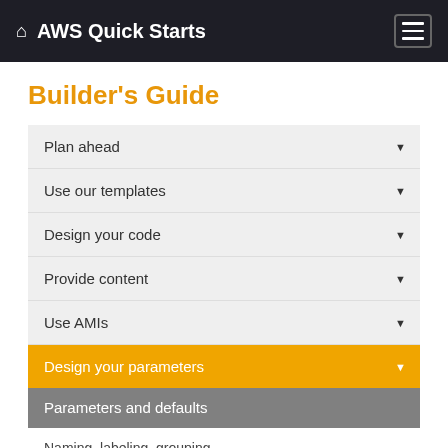AWS Quick Starts
Builder's Guide
Plan ahead
Use our templates
Design your code
Provide content
Use AMIs
Design your parameters
Parameters and defaults
Naming, labeling, grouping
Parameter types
DependsOn attribute
Quick Start portability